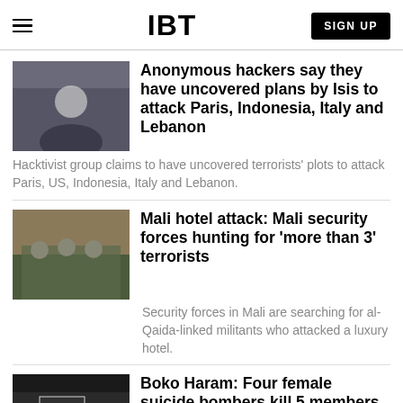IBT | SIGN UP
Anonymous hackers say they have uncovered plans by Isis to attack Paris, Indonesia, Italy and Lebanon
Hacktivist group claims to have uncovered terrorists' plots to attack Paris, US, Indonesia, Italy and Lebanon.
Mali hotel attack: Mali security forces hunting for 'more than 3' terrorists
Security forces in Mali are searching for al-Qaida-linked militants who attacked a luxury hotel.
Boko Haram: Four female suicide bombers kill 5 members of same family in northern